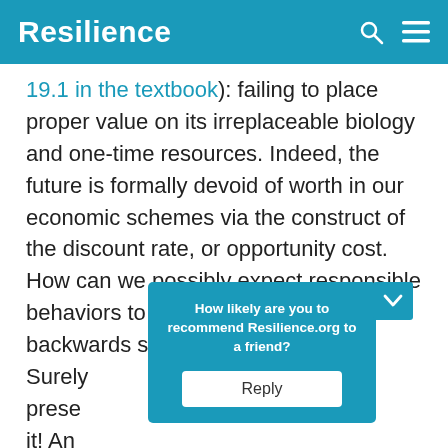Resilience
19.1 in the textbook): failing to place proper value on its irreplaceable biology and one-time resources. Indeed, the future is formally devoid of worth in our economic schemes via the construct of the discount rate, or opportunity cost. How can we possibly expect responsible behaviors to result from such a backwards system? Surely [obscured by popup] the present [obscured by popup] ore of it! An [obscured by popup]
How likely are you to recommend Resilience.org to a friend?
Reply